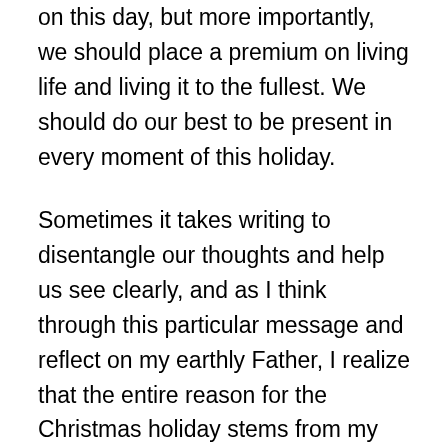on this day, but more importantly, we should place a premium on living life and living it to the fullest. We should do our best to be present in every moment of this holiday.
Sometimes it takes writing to disentangle our thoughts and help us see clearly, and as I think through this particular message and reflect on my earthly Father, I realize that the entire reason for the Christmas holiday stems from my Heavenly Father's desire to be present with us. At Christmas, we celebrate God sending His one and only Son to this world to be born in a humble manger. The gift of Jesus Christ was a symbol of God's desire to do more than just watch our lives from a distance. The greatest Christmas gift was